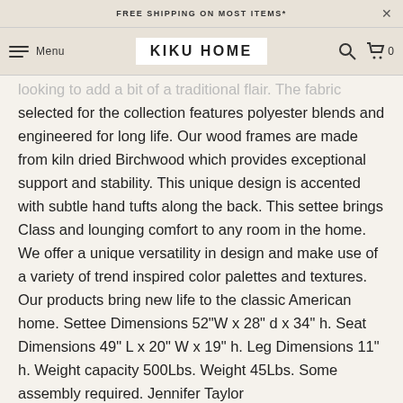FREE SHIPPING ON MOST ITEMS*
KIKU HOME  Menu  Search  Cart 0
looking to add a bit of a traditional flair. The fabric selected for the collection features polyester blends and engineered for long life. Our wood frames are made from kiln dried Birchwood which provides exceptional support and stability. This unique design is accented with subtle hand tufts along the back. This settee brings Class and lounging comfort to any room in the home. We offer a unique versatility in design and make use of a variety of trend inspired color palettes and textures. Our products bring new life to the classic American home. Settee Dimensions 52"W x 28" d x 34" h. Seat Dimensions 49" L x 20" W x 19" h. Leg Dimensions 11" h. Weight capacity 500Lbs. Weight 45Lbs. Some assembly required. Jennifer Taylor home creates and designs durable and long lasting